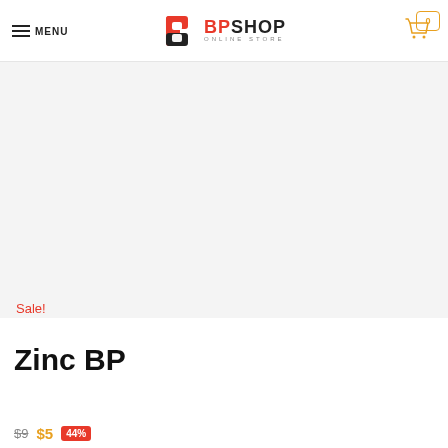MENU | BPSHOP ONLINE STORE | 0
[Figure (photo): Product image area, light gray background, no product visible in this crop]
Sale!
Zinc BP
$9  $5  44%